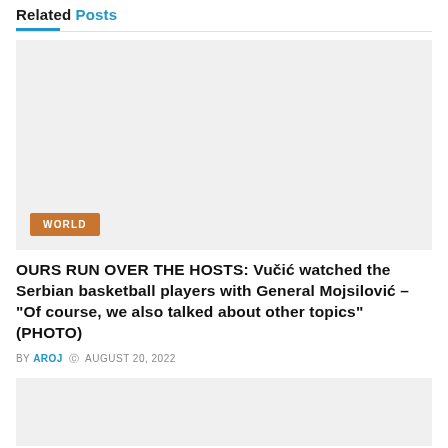Related Posts
[Figure (photo): Light gray placeholder image box with a 'WORLD' category badge in brown/orange at the bottom left.]
OURS RUN OVER THE HOSTS: Vučić watched the Serbian basketball players with General Mojsilović – "Of course, we also talked about other topics" (PHOTO)
BY AROJ  AUGUST 20, 2022
[Figure (photo): Light gray placeholder image box at the bottom of the page.]